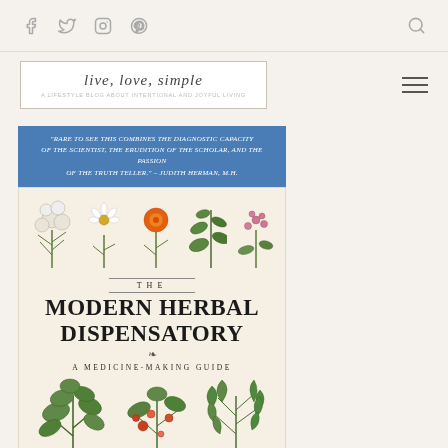Social nav icons: Facebook, Twitter, Instagram, Pinterest, Search
[Figure (logo): live, love, simple blog logo with tagline in script font inside bordered box, hamburger menu icon on right]
[Figure (illustration): Book cover for 'The Modern Herbal Dispensatory: A Medicine-Making Guide' showing botanical plant illustrations on cream background, with blue blurb strip at top reading 'RARE TO SEE THIS COMBINES THE DIAGNOSTIC CAPACITY OF THE SCIENTIST, THE ERUDITION OF THE SCHOLAR, AND THE PASSION OF THE TRUTH TELLER.' - JUDITH HERMAN, M.H.]